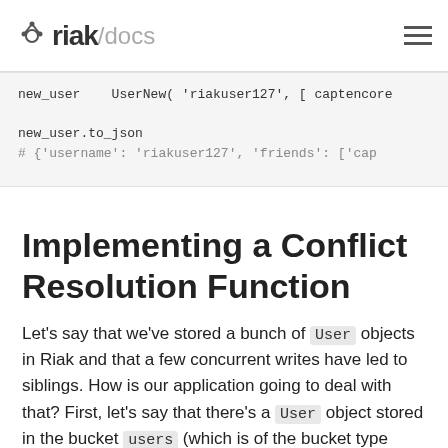riak/docs
[Figure (screenshot): Code block showing: new_user = UserNew('riakuser127', [ captencore ... new_user.to_json  # {'username': 'riakuser127', 'friends': ['cap]
Implementing a Conflict Resolution Function
Let's say that we've stored a bunch of User objects in Riak and that a few concurrent writes have led to siblings. How is our application going to deal with that? First, let's say that there's a User object stored in the bucket users (which is of the bucket type siblings, as explained above) under the key bashobunny. We can fetch the object that is stored there and see if it has siblings: